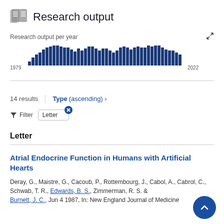Research output
[Figure (bar-chart): Research output per year]
14 results
Type (ascending) ›
Filter   Letter
Letter
Atrial Endocrine Function in Humans with Artificial Hearts
Deray, G., Maistre, G., Cacoub, P., Rottembourg, J., Cabrol, A., Cabrol, C., Schwab, T. R., Edwards, B. S., Zimmerman, R. S. & Burnett, J. C., Jun 4 1987, In: New England Journal of Medicine